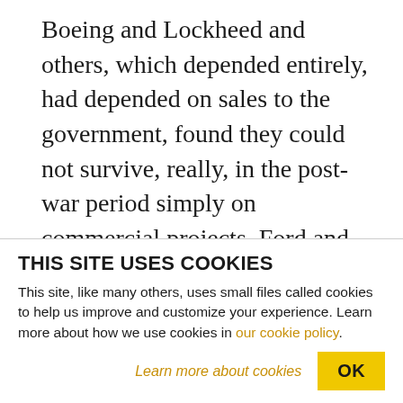Boeing and Lockheed and others, which depended entirely, had depended on sales to the government, found they could not survive, really, in the post-war period simply on commercial projects. Ford and GM, who built most of the planes, went back to building cars. But Lockheed and Boeing found that the commercial aircraft airline industry didn't provide them enough sales and purchases really to stay solvent. And so they began lobbying very heavily in '46, '47. Finally in '47 and '48 got enormous increases in government contracts at that
THIS SITE USES COOKIES
This site, like many others, uses small files called cookies to help us improve and customize your experience. Learn more about how we use cookies in our cookie policy.
Learn more about cookies   OK